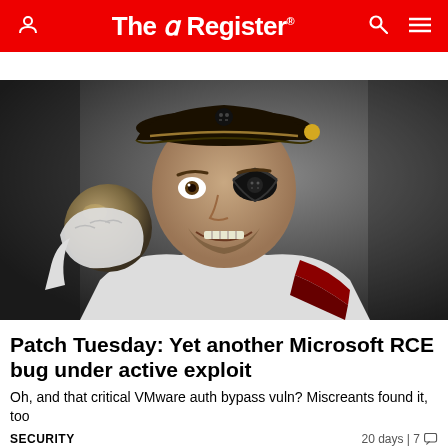The Register
[Figure (photo): A man dressed as a pirate wearing a tricorn hat and eye patch, holding a large cannonball and snarling at the camera. Black and white/dark toned dramatic photo.]
Patch Tuesday: Yet another Microsoft RCE bug under active exploit
Oh, and that critical VMware auth bypass vuln? Miscreants found it, too
SECURITY
20 days | 7